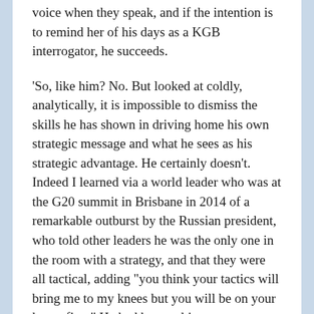voice when they speak, and if the intention is to remind her of his days as a KGB interrogator, he succeeds.
‘So, like him? No. But looked at coldly, analytically, it is impossible to dismiss the skills he has shown in driving home his own strategic message and what he sees as his strategic advantage. He certainly doesn’t. Indeed I learned via a world leader who was at the G20 summit in Brisbane in 2014 of a remarkable outburst by the Russian president, who told other leaders he was the only one in the room with a strategy, and that they were all tactical, adding “you think your tactics will bring me to my knees but you will be on your knees first.” He had been subject to a succession of public attacks and had decided to boycott the dinner, adding “all you do is eat.” His risk may be over-reach – and the rouble crisis not long afterwards was an indication that sanctions as